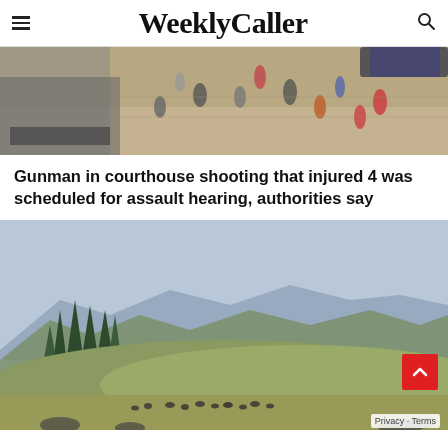WeeklyCaller
[Figure (photo): Aerial view of people standing on a sidewalk/pavement outside a building, some in bright red or orange clothing, police or officials present]
Gunman in courthouse shooting that injured 4 was scheduled for assault hearing, authorities say
[Figure (photo): Landscape photo of mountains with a green meadow in the foreground, pine trees on the left, bison or animals grazing in the distance, hazy mountain ridges in the background]